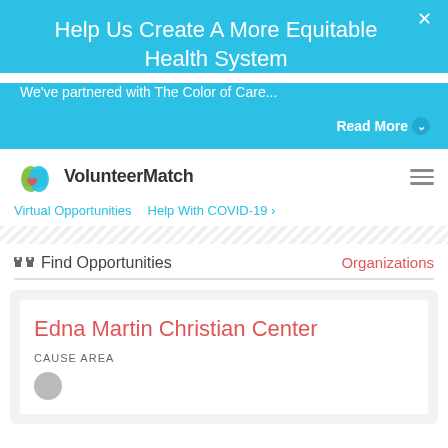Help Us Create A More Equitable Health System
We've partnered with The Color of Care...
Read More
[Figure (logo): VolunteerMatch logo with colorful hand icon]
Virtual Opportunities   Help With COVID-19 ›
🔭 Find Opportunities
Organizations
Edna Martin Christian Center
Cause Area